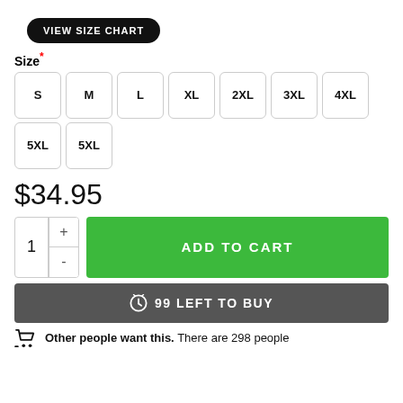VIEW SIZE CHART
Size*
S M L XL 2XL 3XL 4XL 5XL 5XL
$34.95
ADD TO CART
99 LEFT TO BUY
Other people want this. There are 298 people